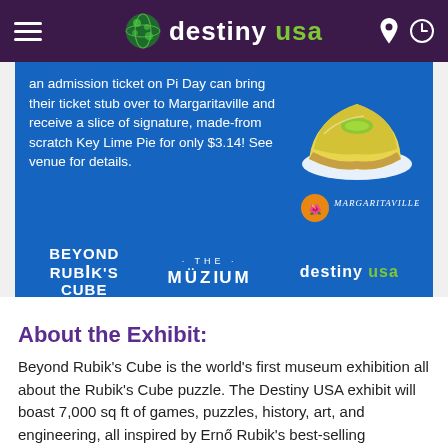destiny usa
[Figure (infographic): Blue promotional banner for Beyond Rubik's Cube exhibit at Destiny USA. Contains text about Pi Day promotion at Margaritaville, image of key lime pie, Margaritaville logo, and logos for Beyond Rubik's Cube, The Muzium, and Destiny USA.]
About the Exhibit:
Beyond Rubik's Cube is the world's first museum exhibition all about the Rubik's Cube puzzle. The Destiny USA exhibit will boast 7,000 sq ft of games, puzzles, history, art, and engineering, all inspired by Ernő Rubik's best-selling masterpiece. Whether you're a puzzle buff, nostalgic about the Cube and its history, or just looking for a fun and challenging way